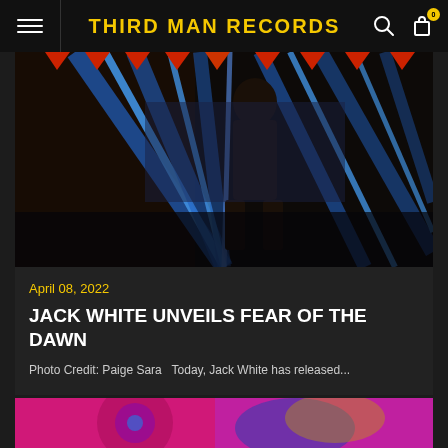THIRD MAN RECORDS
[Figure (photo): A person in dark clothing standing in a bowling alley with glowing blue lane lines, red triangle decorations overhead, dark atmospheric lighting]
April 08, 2022
JACK WHITE UNVEILS FEAR OF THE DAWN
Photo Credit: Paige Sara   Today, Jack White has released...
[Figure (photo): Partial view of colorful record or artwork with pink/magenta and blue/yellow colors visible at bottom of page]